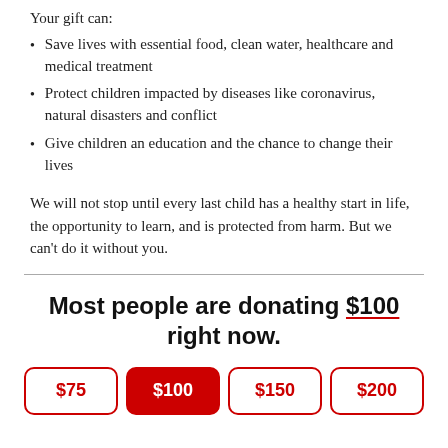Your gift can:
Save lives with essential food, clean water, healthcare and medical treatment
Protect children impacted by diseases like coronavirus, natural disasters and conflict
Give children an education and the chance to change their lives
We will not stop until every last child has a healthy start in life, the opportunity to learn, and is protected from harm. But we can't do it without you.
Most people are donating $100 right now.
[Figure (other): Donation amount buttons showing $75, $100, $150, $200]